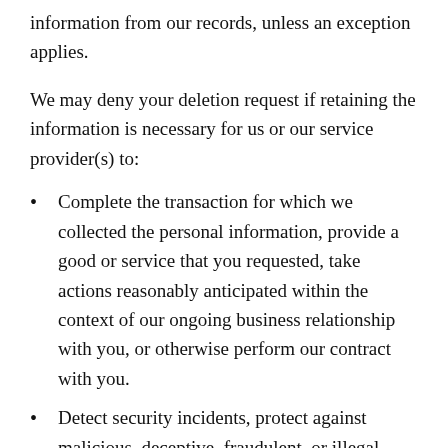information from our records, unless an exception applies.
We may deny your deletion request if retaining the information is necessary for us or our service provider(s) to:
Complete the transaction for which we collected the personal information, provide a good or service that you requested, take actions reasonably anticipated within the context of our ongoing business relationship with you, or otherwise perform our contract with you.
Detect security incidents, protect against malicious, deceptive, fraudulent, or illegal activity, or prosecute those responsible for such activities.
Debug products to identify and repair errors that impair existing intended functionality.
Exercise free speech, ensure the right of another...